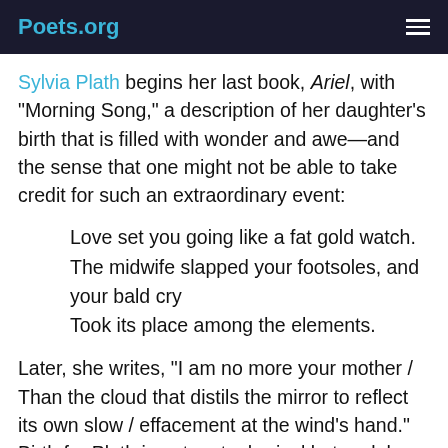Poets.org
Sylvia Plath begins her last book, Ariel, with "Morning Song," a description of her daughter's birth that is filled with wonder and awe—and the sense that one might not be able to take credit for such an extraordinary event:
Love set you going like a fat gold watch.
The midwife slapped your footsoles, and your bald cry
Took its place among the elements.
Later, she writes, "I am no more your mother / Than the cloud that distils the mirror to reflect its own slow / effacement at the wind's hand." Birth for Plath is not metaphorical but real; her